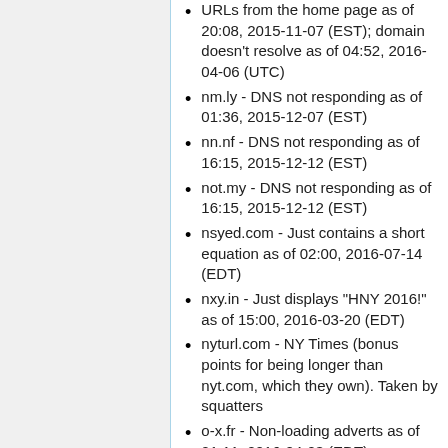URLs from the home page as of 20:08, 2015-11-07 (EST); domain doesn't resolve as of 04:52, 2016-04-06 (UTC)
nm.ly - DNS not responding as of 01:36, 2015-12-07 (EST)
nn.nf - DNS not responding as of 16:15, 2015-12-12 (EST)
not.my - DNS not responding as of 16:15, 2015-12-12 (EST)
nsyed.com - Just contains a short equation as of 02:00, 2016-07-14 (EDT)
nxy.in - Just displays "HNY 2016!" as of 15:00, 2016-03-20 (EDT)
nyturl.com - NY Times (bonus points for being longer than nyt.com, which they own). Taken by squatters
o-x.fr - Non-loading adverts as of 01:11, 2016-04-03 (EDT)